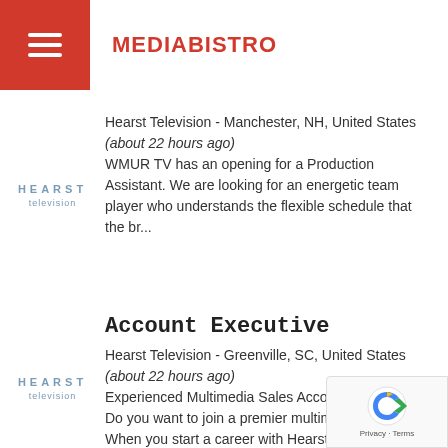MEDIABISTRO
[Figure (logo): Hearst Television logo with text 'HEARST' in spaced lettering and 'television' below]
Hearst Television - Manchester, NH, United States (about 22 hours ago) WMUR TV has an opening for a Production Assistant. We are looking for an energetic team player who understands the flexible schedule that the br...
[Figure (logo): Hearst Television logo with text 'HEARST' in spaced lettering and 'television' below]
Account Executive
Hearst Television - Greenville, SC, United States (about 22 hours ago) Experienced Multimedia Sales Account Executive  Do you want to join a premier multimedia company? When you start a career with Hearst Te...